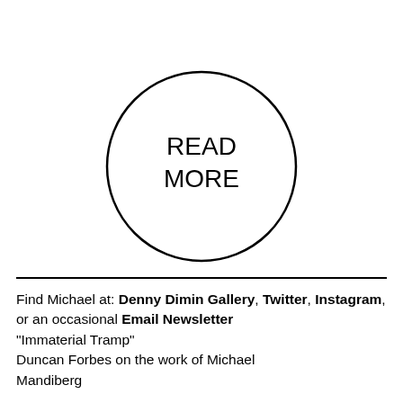[Figure (illustration): A circle with the text READ MORE inside it, centered on the upper portion of the page]
Find Michael at: Denny Dimin Gallery, Twitter, Instagram, or an occasional Email Newsletter
"Immaterial Tramp"
Duncan Forbes on the work of Michael Mandiberg